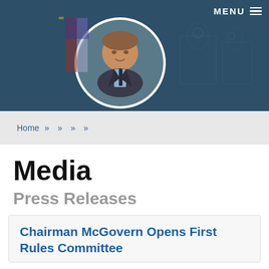[Figure (photo): Header banner with dark teal background showing a circular portrait photo of a man in a dark suit with light blue shirt and tie, with an American flag visible behind him. A hamburger menu icon and 'MENU' text appear in the top right corner.]
MENU ☰
Home » » » »
Media
Press Releases
Chairman McGovern Opens First Rules Committee